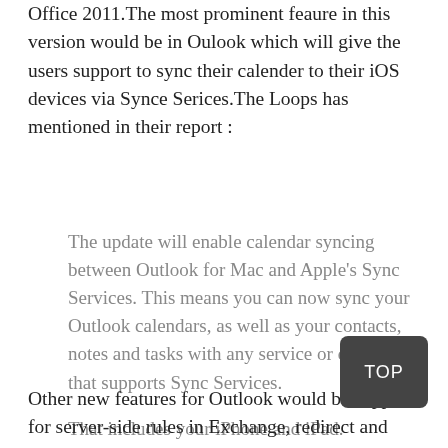Office 2011.The most prominent feaure in this version would be in Oulook which will give the users support to sync their calender to their iOS devices via Synce Serices.The Loops has mentioned in their report :
The update will enable calendar syncing between Outlook for Mac and Apple's Sync Services. This means you can now sync your Outlook calendars, as well as your contacts, notes and tasks with any service or device that supports Sync Services.
That includes your iPhone and iPad. Microsoft's Senior Director of Product Management, Pat Fox, told The Loop that this was one of the most requested features from Office for Mac 2011 users
Other new features for Outlook would be support for server-side rules in Exchange, redirect and resend buttons for mail, and